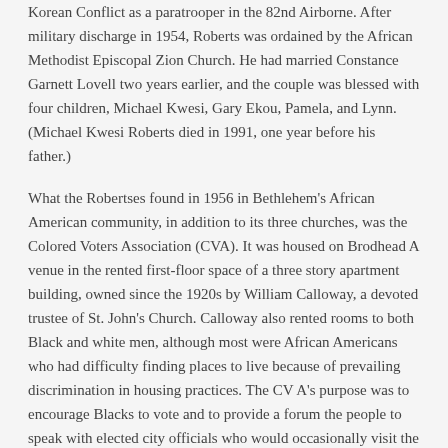Korean Conflict as a paratrooper in the 82nd Airborne. After military discharge in 1954, Roberts was ordained by the African Methodist Episcopal Zion Church. He had married Constance Garnett Lovell two years earlier, and the couple was blessed with four children, Michael Kwesi, Gary Ekou, Pamela, and Lynn. (Michael Kwesi Roberts died in 1991, one year before his father.)
What the Robertses found in 1956 in Bethlehem's African American community, in addition to its three churches, was the Colored Voters Association (CVA). It was housed on Brodhead A venue in the rented first-floor space of a three story apartment building, owned since the 1920s by William Calloway, a devoted trustee of St. John's Church. Calloway also rented rooms to both Black and white men, although most were African Americans who had difficulty finding places to live because of prevailing discrimination in housing practices. The CV A's purpose was to encourage Blacks to vote and to provide a forum the people to speak with elected city officials who would occasionally visit the headquarters. Although the Colored Voters Association is no longer in existence, having fallen on hard financial times after Calloway's death in 1986, at age ninety-eight, it had served Black and white members alike.